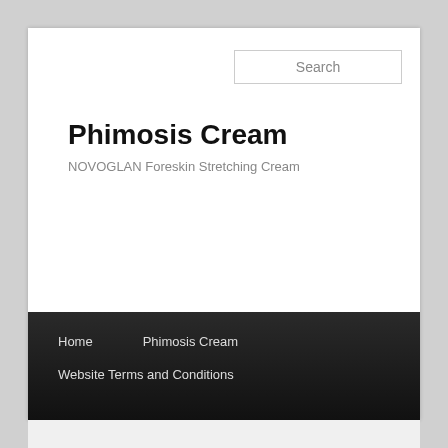Phimosis Cream
NOVOGLAN Foreskin Stretching Cream
Home   Phimosis Cream   Website Terms and Conditions